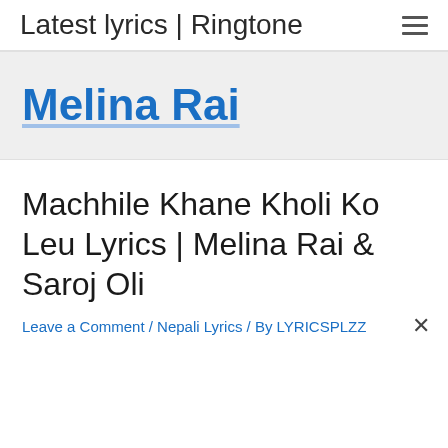Latest lyrics | Ringtone
Melina Rai
Machhile Khane Kholi Ko Leu Lyrics | Melina Rai & Saroj Oli
Leave a Comment / Nepali Lyrics / By LYRICSPLZZ